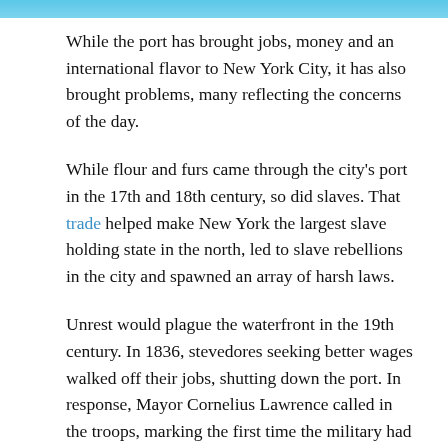[Figure (photo): Top portion of an image, showing a blue sky or water scene, cropped at the top of the page.]
While the port has brought jobs, money and an international flavor to New York City, it has also brought problems, many reflecting the concerns of the day.
While flour and furs came through the city's port in the 17th and 18th century, so did slaves. That trade helped make New York the largest slave holding state in the north, led to slave rebellions in the city and spawned an array of harsh laws.
Unrest would plague the waterfront in the 19th century. In 1836, stevedores seeking better wages walked off their jobs, shutting down the port. In response, Mayor Cornelius Lawrence called in the troops, marking the first time the military had ever been used to put down a strike in New York City. And waterfront workers